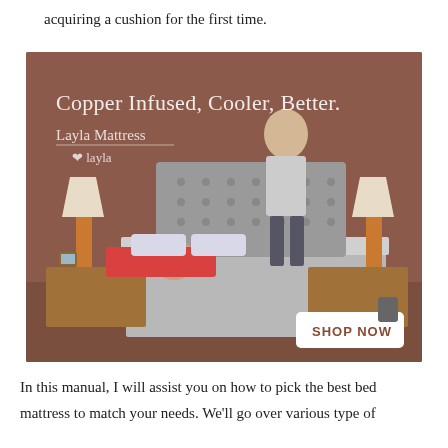acquiring a cushion for the first time.
[Figure (photo): Layla Mattress advertisement showing a couple on a bed against a brownish-red background. Text reads 'Copper Infused, Cooler, Better.' with 'Layla Mattress' and the Layla logo. A 'SHOP NOW' button appears in the lower right corner. Two orange lamps on nightstands flank a tufted grey headboard. A man in red lies on the mattress while a woman in grey stands on it.]
In this manual, I will assist you on how to pick the best bed mattress to match your needs. We'll go over various type of